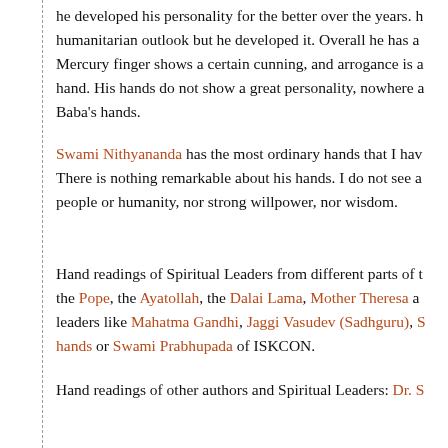he developed his personality for the better over the years. he had a humanitarian outlook but he developed it. Overall he has a Mercury finger shows a certain cunning, and arrogance is a hand. His hands do not show a great personality, nowhere Baba's hands.
Swami Nithyananda has the most ordinary hands that I hav There is nothing remarkable about his hands. I do not see a people or humanity, nor strong willpower, nor wisdom.
Hand readings of Spiritual Leaders from different parts of the world: the Pope, the Ayatollah, the Dalai Lama, Mother Theresa and leaders like Mahatma Gandhi, Jaggi Vasudev (Sadhguru), hands or Swami Prabhupada of ISKCON.
Hand readings of other authors and Spiritual Leaders: Dr. S